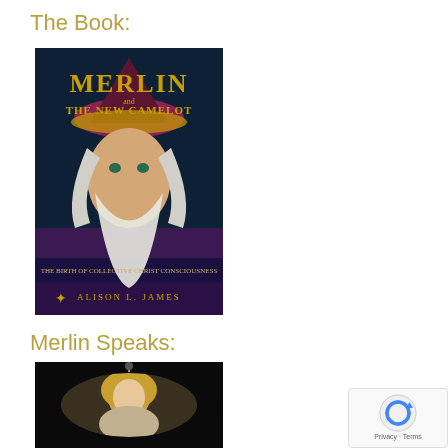The Book:
[Figure (photo): Book cover of 'Merlin and The New Camelot' by Alison L. James, featuring an illustration of Merlin the wizard with a long white beard wearing a wizard hat, subtitled 'The Birth of Collective Christ Consciousness']
Merlin Speaks:
[Figure (photo): A woman with blonde hair shown in a circular vignette frame, appearing to be speaking or presenting]
[Figure (other): reCAPTCHA badge with Privacy and Terms links]